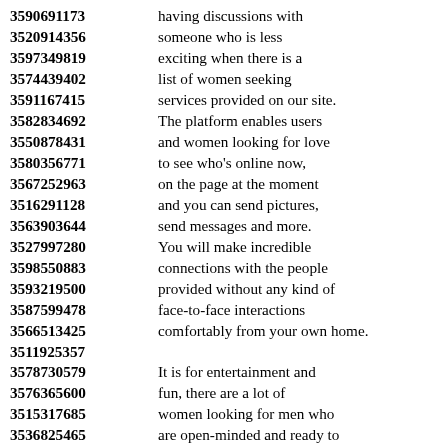3590691173 having discussions with 3520914356 someone who is less 3597349819 exciting when there is a 3574439402 list of women seeking 3591167415 services provided on our site. 3582834692 The platform enables users 3550878431 and women looking for love 3580356771 to see who's online now, 3567252963 on the page at the moment 3516291128 and you can send pictures, 3563903644 send messages and more. 3527997280 You will make incredible 3598550883 connections with the people 3593219500 provided without any kind of 3587599478 face-to-face interactions 3566513425 comfortably from your own home. 3511925357 3578730579 It is for entertainment and 3576365600 fun, there are a lot of 3515317685 women looking for men who 3536825465 are open-minded and ready to 3531307233 explore more about real 3598988898 personal relationships online. 3525811164 If at any point you feel 3570496635 that the optimal choice of